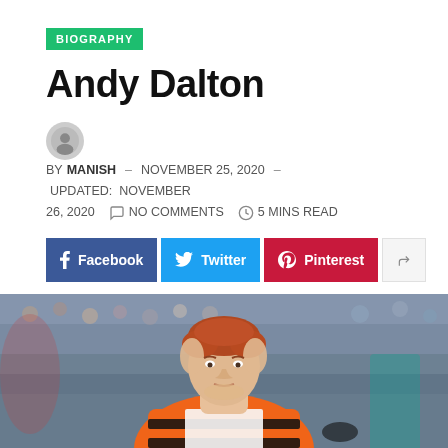BIOGRAPHY
Andy Dalton
BY MANISH – NOVEMBER 25, 2020 – UPDATED: NOVEMBER 26, 2020  NO COMMENTS  5 MINS READ
[Figure (infographic): Social share buttons: Facebook, Twitter, Pinterest, and a share icon button]
[Figure (photo): Photo of Andy Dalton, NFL quarterback, wearing a Cincinnati Bengals orange jersey with black stripes, with reddish hair, standing on a field with stadium crowd in background]